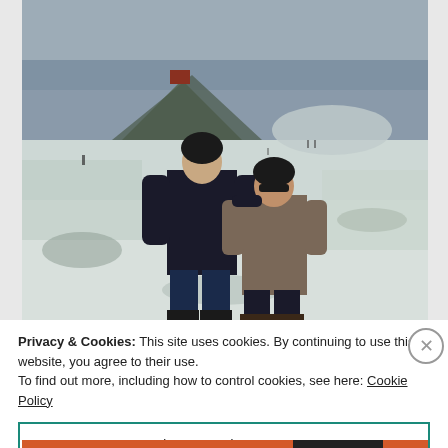[Figure (photo): Two people posing together outdoors in a snowy, overcast landscape. One person wears a dark jacket and black beanie; the other wears a gray/brown winter jacket and sunglasses. In the background there is a small hill or pyramid-shaped mound with a reddish structure on top, snow-covered flat terrain, and a few other people visible in the distance.]
Privacy & Cookies: This site uses cookies. By continuing to use this website, you agree to their use.
To find out more, including how to control cookies, see here: Cookie Policy
Close and accept